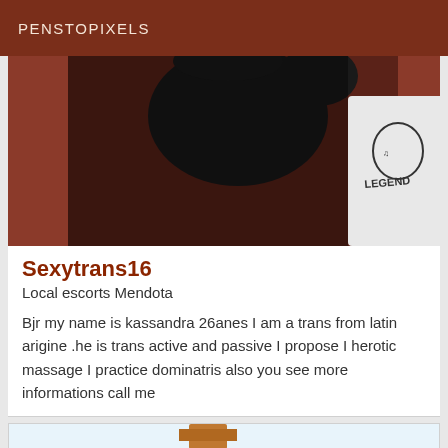PENSTOPIXELS
[Figure (photo): Profile photo showing person in black top with back to camera, another person in white LEGEND t-shirt visible at right, reddish-brown background]
Sexytrans16
Local escorts Mendota
Bjr my name is kassandra 26anes I am a trans from latin arigine .he is trans active and passive I propose I herotic massage I practice dominatris also you see more informations call me
[Figure (photo): Photo showing blonde person outdoors with wooden structure visible above, bright sky background]